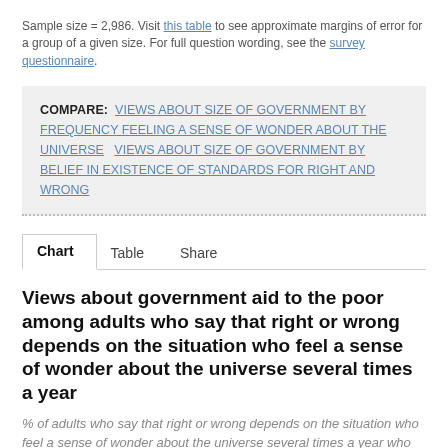Sample size = 2,986. Visit this table to see approximate margins of error for a group of a given size. For full question wording, see the survey questionnaire.
COMPARE: VIEWS ABOUT SIZE OF GOVERNMENT BY FREQUENCY FEELING A SENSE OF WONDER ABOUT THE UNIVERSE   VIEWS ABOUT SIZE OF GOVERNMENT BY BELIEF IN EXISTENCE OF STANDARDS FOR RIGHT AND WRONG
Chart   Table   Share
Views about government aid to the poor among adults who say that right or wrong depends on the situation who feel a sense of wonder about the universe several times a year
% of adults who say that right or wrong depends on the situation who feel a sense of wonder about the universe several times a year who say government aid to the poor...